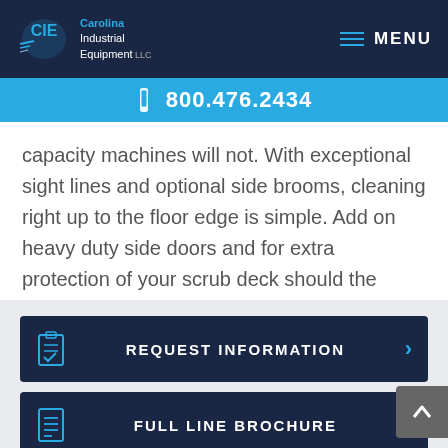Carolina Industrial Equipment — 800.476.2434
capacity machines will not. With exceptional sight lines and optional side brooms, cleaning right up to the floor edge is simple. Add on heavy duty side doors and for extra protection of your scrub deck should the operator hit an obstacle or debris.
REQUEST INFORMATION
FULL LINE BROCHURE